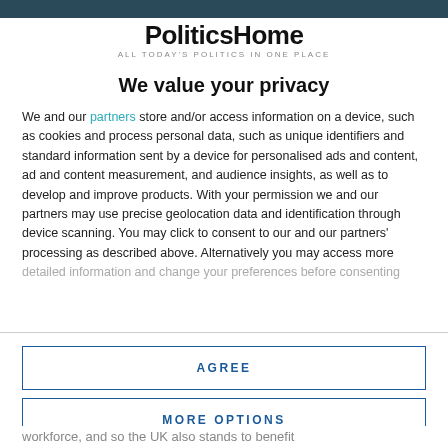[Figure (logo): PoliticsHome logo with tagline 'ALL TODAY'S POLITICS IN ONE PLACE']
We value your privacy
We and our partners store and/or access information on a device, such as cookies and process personal data, such as unique identifiers and standard information sent by a device for personalised ads and content, ad and content measurement, and audience insights, as well as to develop and improve products. With your permission we and our partners may use precise geolocation data and identification through device scanning. You may click to consent to our and our partners' processing as described above. Alternatively you may access more detailed information and change your preferences before consenting
AGREE
MORE OPTIONS
workforce, and so the UK also stands to benefit